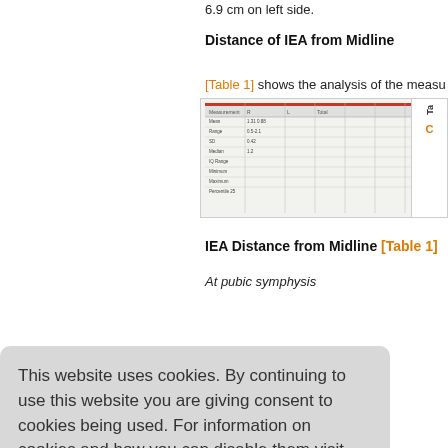6.9 cm on left side.
Distance of IEA from Midline
[Table 1] shows the analysis of the measu...
[Figure (table-as-image): Partial table image showing numerical data with rows and columns, cropped on right.]
IEA Distance from Midline [Table 1]
At pubic symphysis
...ominal wa... his was m... beyond 1...
...IEA from m... n. IEA in c...
...vas likely t... lth was si...
This website uses cookies. By continuing to use this website you are giving consent to cookies being used. For information on cookies and how you can disable them visit our
Privacy and Cookie Policy.
AGREE & PROCEED